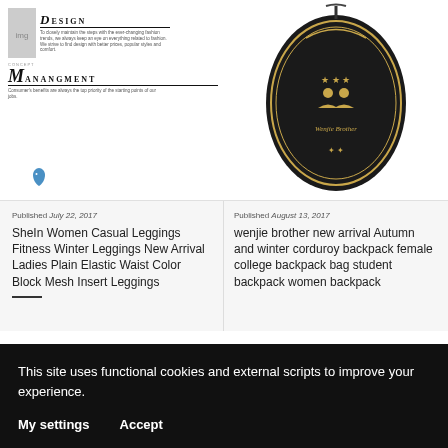[Figure (screenshot): Left column: Design logo with italic D, small descriptive text, Concept Management logo with large M, small consumer benefits text, and a blue bird icon]
[Figure (photo): Right column: Black oval badge/logo for Wenjie Brother brand with gold embroidery showing figures and text]
Published July 22, 2017
SheIn Women Casual Leggings Fitness Winter Leggings New Arrival Ladies Plain Elastic Waist Color Block Mesh Insert Leggings
Published August 13, 2017
wenjie brother new arrival Autumn and winter corduroy backpack female college backpack bag student backpack women backpack
This site uses functional cookies and external scripts to improve your experience.
My settings
Accept